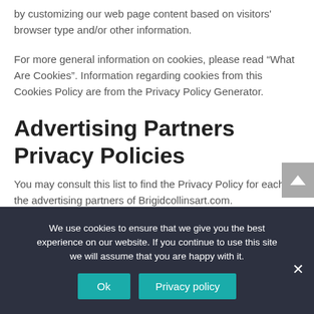by customizing our web page content based on visitors' browser type and/or other information.
For more general information on cookies, please read “What Are Cookies”. Information regarding cookies from this Cookies Policy are from the Privacy Policy Generator.
Advertising Partners Privacy Policies
You may consult this list to find the Privacy Policy for each of the advertising partners of Brigidcollinsart.com.
We use cookies to ensure that we give you the best experience on our website. If you continue to use this site we will assume that you are happy with it.